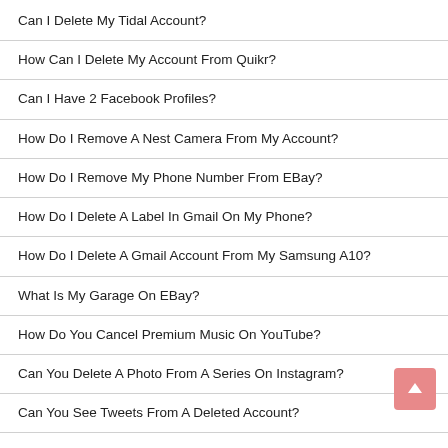Can I Delete My Tidal Account?
How Can I Delete My Account From Quikr?
Can I Have 2 Facebook Profiles?
How Do I Remove A Nest Camera From My Account?
How Do I Remove My Phone Number From EBay?
How Do I Delete A Label In Gmail On My Phone?
How Do I Delete A Gmail Account From My Samsung A10?
What Is My Garage On EBay?
How Do You Cancel Premium Music On YouTube?
Can You Delete A Photo From A Series On Instagram?
Can You See Tweets From A Deleted Account?